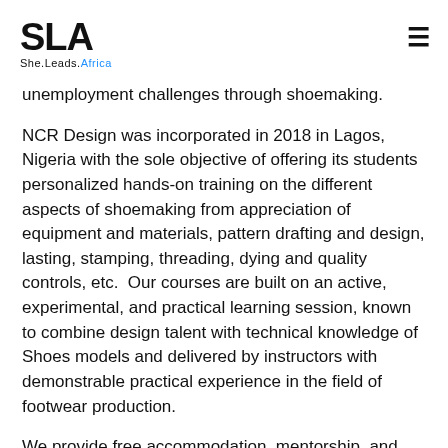SLA She.Leads.Africa
unemployment challenges through shoemaking.
NCR Design was incorporated in 2018 in Lagos, Nigeria with the sole objective of offering its students personalized hands-on training on the different aspects of shoemaking from appreciation of equipment and materials, pattern drafting and design, lasting, stamping, threading, dying and quality controls, etc.  Our courses are built on an active, experimental, and practical learning session, known to combine design talent with technical knowledge of Shoes models and delivered by instructors with demonstrable practical experience in the field of footwear production.
We provide free accommodation, mentorship, and